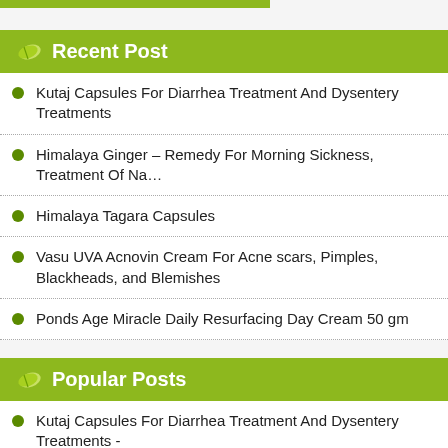Recent Post
Kutaj Capsules For Diarrhea Treatment And Dysentery Treatments
Himalaya Ginger – Remedy For Morning Sickness, Treatment Of Na…
Himalaya Tagara Capsules
Vasu UVA Acnovin Cream For Acne scars, Pimples, Blackheads, and Blemishes
Ponds Age Miracle Daily Resurfacing Day Cream 50 gm
Popular Posts
Kutaj Capsules For Diarrhea Treatment And Dysentery Treatments -
SBL Damiagra Forte Drops To Get Rid Of Erectile Dysfunction & Low… Count -
Himalaya Speman -
Himalaya Tentex Forte -